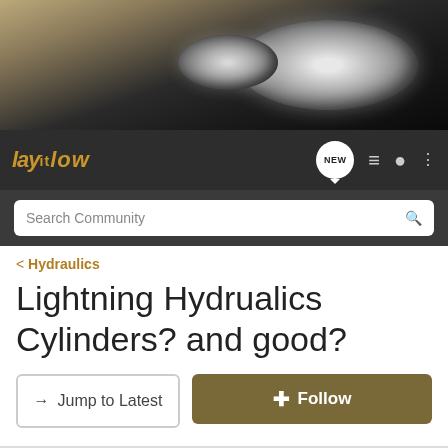[Figure (photo): Sepia-toned close-up photograph of a classic car's front headlights and chrome grille details]
LAY IT LOW — navigation bar with NEW, list, user, and menu icons, and Search Community bar
< Hydraulics
Lightning Hydrualics Cylinders? and good?
→ Jump to Latest   + Follow
1 - 6 of 6 Posts